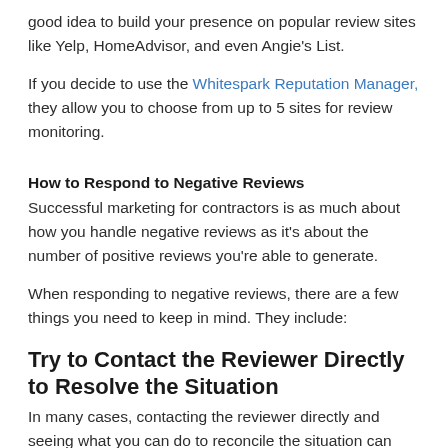good idea to build your presence on popular review sites like Yelp, HomeAdvisor, and even Angie's List.
If you decide to use the Whitespark Reputation Manager, they allow you to choose from up to 5 sites for review monitoring.
How to Respond to Negative Reviews
Successful marketing for contractors is as much about how you handle negative reviews as it's about the number of positive reviews you're able to generate.
When responding to negative reviews, there are a few things you need to keep in mind. They include:
Try to Contact the Reviewer Directly to Resolve the Situation
In many cases, contacting the reviewer directly and seeing what you can do to reconcile the situation can cause them to turn their negative review into a positive